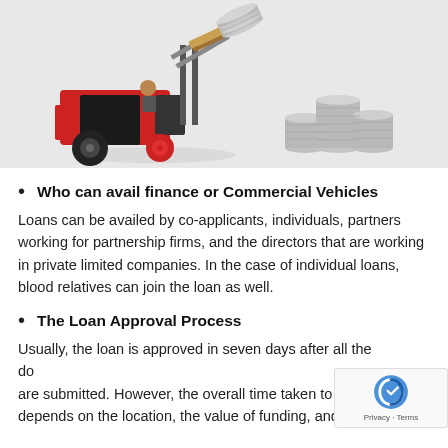[Figure (photo): A red toy forklift carrying a stack of coins on a pallet, with stacks of silver coins arranged to the right, on a white background.]
Who can avail finance or Commercial Vehicles
Loans can be availed by co-applicants, individuals, partners working for partnership firms, and the directors that are working in private limited companies. In the case of individual loans, blood relatives can join the loan as well.
The Loan Approval Process
Usually, the loan is approved in seven days after all the documents are submitted. However, the overall time taken to sanction depends on the location, the value of funding, and the overall